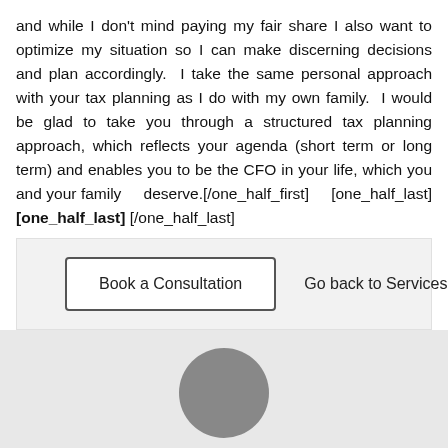and while I don't mind paying my fair share I also want to optimize my situation so I can make discerning decisions and plan accordingly.  I take the same personal approach with your tax planning as I do with my own family.  I would be glad to take you through a structured tax planning approach, which reflects your agenda (short term or long term) and enables you to be the CFO in your life, which you and your family deserve.[/one_half_first]    [one_half_last][one_half_last] [/one_half_last]
Book a Consultation   Go back to Services
[Figure (photo): Partial photo of a person's head/face visible at the bottom of the page]